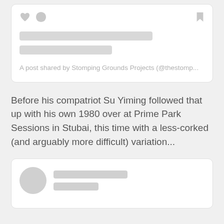[Figure (screenshot): Social media post card (top): heart icon, comment bubble icon on left, bookmark icon on right, two placeholder bars for text, and a caption reading 'A post shared by Stomping Grounds Projects (@thestomp...']
A post shared by Stomping Grounds Projects (@thestomp...
Before his compatriot Su Yiming followed that up with his own 1980 over at Prime Park Sessions in Stubai, this time with a less-corked (and arguably more difficult) variation...
[Figure (screenshot): Social media post card (bottom): large circular avatar placeholder on left with two placeholder bars for username/handle on right]